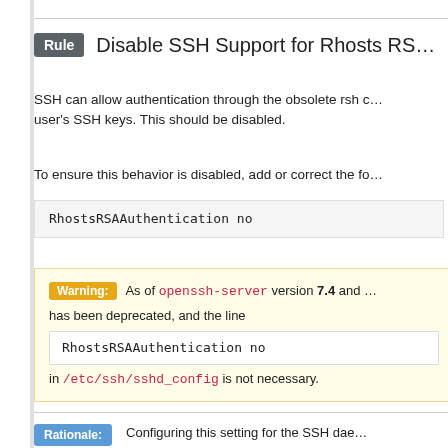Rule  Disable SSH Support for Rhosts RS...
SSH can allow authentication through the obsolete rsh c... user's SSH keys. This should be disabled.
To ensure this behavior is disabled, add or correct the fo...
RhostsRSAAuthentication no
Warning: As of openssh-server version 7.4 and ... has been deprecated, and the line RhostsRSAAuthentication no in /etc/ssh/sshd_config is not necessary.
Rationale: Configuring this setting for the SSH dae... login via SSH will require a password, ev...